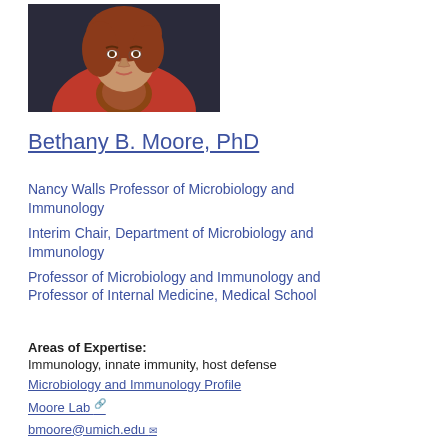[Figure (photo): Portrait photo of Bethany B. Moore, a woman with reddish-brown hair wearing a red top and patterned scarf, photographed against a dark background]
Bethany B. Moore, PhD
Nancy Walls Professor of Microbiology and Immunology
Interim Chair, Department of Microbiology and Immunology
Professor of Microbiology and Immunology and Professor of Internal Medicine, Medical School
Areas of Expertise:
Immunology, innate immunity, host defense
Microbiology and Immunology Profile
Moore Lab
bmoore@umich.edu